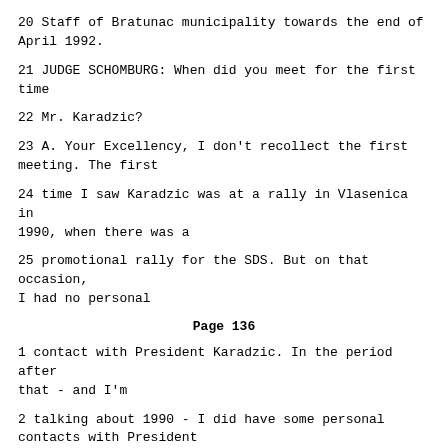20 Staff of Bratunac municipality towards the end of April 1992.
21 JUDGE SCHOMBURG: When did you meet for the first time
22 Mr. Karadzic?
23 A. Your Excellency, I don't recollect the first meeting. The first
24 time I saw Karadzic was at a rally in Vlasenica in 1990, when there was a
25 promotional rally for the SDS. But on that occasion, I had no personal
Page 136
1 contact with President Karadzic. In the period after that - and I'm
2 talking about 1990 - I did have some personal contacts with President
3 Karadzic linked to events that are well known, but mainly in connection
4 with the preparations that were held in Bosnia and Herzegovina in 1990 and